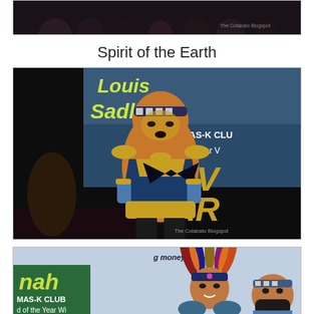[Figure (photo): Top partial photo showing a crowd/group of people at a cultural/carnival event, with 'The Cotabato Blogspot' watermark in the lower right corner. Only the bottom portion of the photo is visible.]
Spirit of the Earth
[Figure (photo): Photo of a male performer in an elaborate golden and blue warrior costume with mask-like face paint, performing on stage. Background shows a banner reading 'Louis Sadlenah MAS-K CLUB Band of the Year' and 'CARNIVAL'. Watermark reads 'The Cotabato Blogspot'.]
[Figure (photo): Partial photo showing two performers in indigenous/tribal costumes with feathered headdresses and face paint. Background shows 'MAS-K CLUB Band of the Year Wi...' text. The photo is cropped at the bottom.]